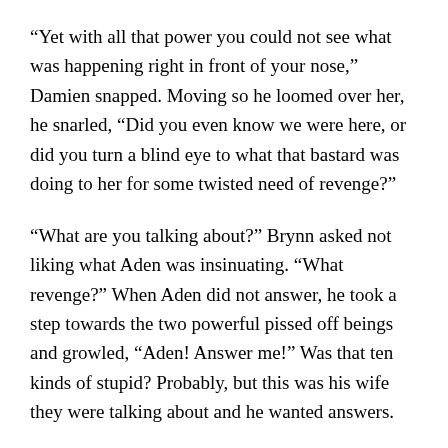“Yet with all that power you could not see what was happening right in front of your nose,” Damien snapped. Moving so he loomed over her, he snarled, “Did you even know we were here, or did you turn a blind eye to what that bastard was doing to her for some twisted need of revenge?”
“What are you talking about?” Brynn asked not liking what Aden was insinuating. “What revenge?” When Aden did not answer, he took a step towards the two powerful pissed off beings and growled, “Aden! Answer me!” Was that ten kinds of stupid? Probably, but this was his wife they were talking about and he wanted answers.
Damien stood back, his anger filling the room. “We are not